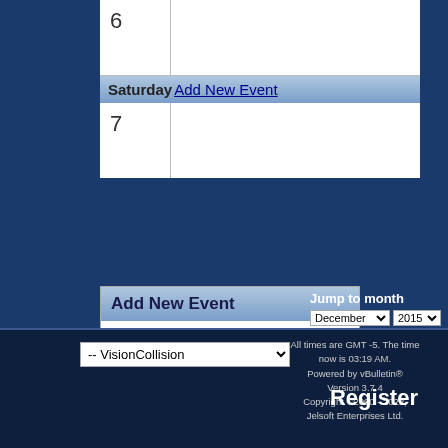| 6 |  |
| Saturday | Add New Event |
| 7 |  |
Add New Event
Single, All Day Event
Ranged Event
Recurring Event
Jump to month
December 2015
Calendar Jump
Default Calendar
Contact Us - Able Muse - Arc
-- VisionCollision
All times are GMT -5. The time now is 03:19 AM. Powered by vBulletin® Version 3.7.4 Copyright ©2000 - 2022, Jelsoft Enterprises Ltd.
Register